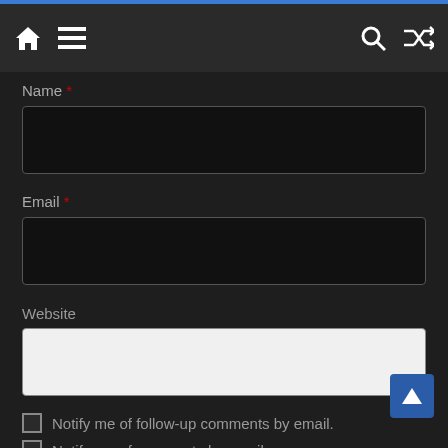[Figure (screenshot): Dark-themed website navigation bar with home icon, hamburger menu icon on the left, and search and shuffle icons on the right]
Name *
[Figure (other): Dark input field for Name]
Email *
[Figure (other): Dark input field for Email]
Website
[Figure (other): Light/white input field for Website]
Notify me of follow-up comments by email.
Notify me of new posts by email.